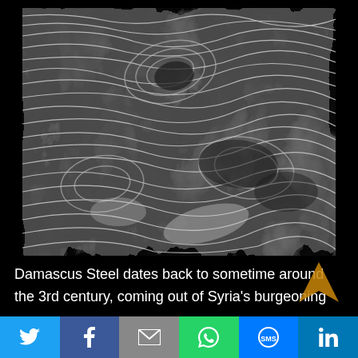[Figure (photo): Close-up black and white photograph of Damascus Steel surface showing distinctive flowing swirling pattern of light and dark wavy lines and bands, characteristic of Damascus/pattern-welded steel.]
Damascus Steel dates back to sometime around the 3rd century, coming out of Syria's burgeoning weapons market, and continued until sometime in the 17th century. The method of making Damascus Steel was lost in the 17th century, though some modern metallurgists believe they may have figured out how it was done. It's easy to recognize the
Social sharing bar: Twitter, Facebook, Email, WhatsApp, SMS, LinkedIn